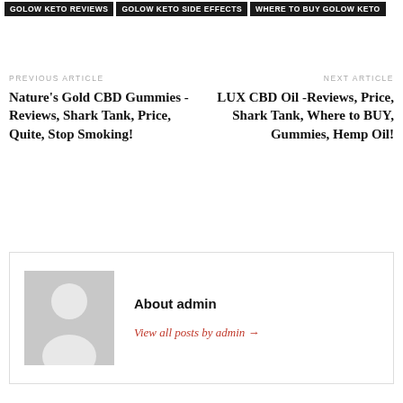GOLOW KETO REVIEWS
GOLOW KETO SIDE EFFECTS
WHERE TO BUY GOLOW KETO
PREVIOUS ARTICLE
Nature’s Gold CBD Gummies -Reviews, Shark Tank, Price, Quite, Stop Smoking!
NEXT ARTICLE
LUX CBD Oil -Reviews, Price, Shark Tank, Where to BUY, Gummies, Hemp Oil!
About admin
View all posts by admin →